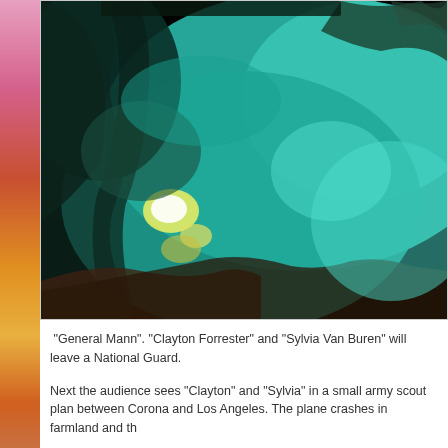[Figure (photo): A blurry abstract photograph dominated by teal/turquoise hues with dark areas and a bright spot of yellow-white light in the lower-left portion. The image appears to show some kind of landscape or abstract scene with organic shapes.]
"General Mann". "Clayton Forrester" and "Sylvia Van Buren" will leave a National Guard.
Next the audience sees "Clayton" and "Sylvia" in a small army scout plan between Corona and Los Angeles. The plane crashes in farmland and th